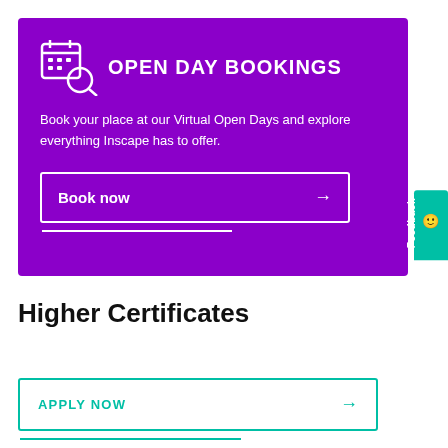[Figure (infographic): Purple banner with calendar/search icon and text 'OPEN DAY BOOKINGS', description text, and a 'Book now' button with white border and arrow]
OPEN DAY BOOKINGS
Book your place at our Virtual Open Days and explore everything Inscape has to offer.
Book now →
Feedback
Higher Certificates
APPLY NOW →